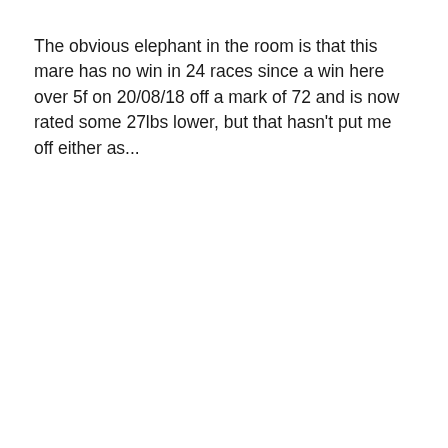The obvious elephant in the room is that this mare has no win in 24 races since a win here over 5f on 20/08/18 off a mark of 72 and is now rated some 27lbs lower, but that hasn't put me off either as...